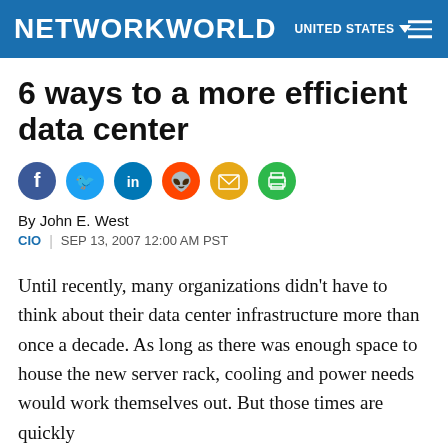NETWORKWORLD  UNITED STATES
6 ways to a more efficient data center
By John E. West
CIO | SEP 13, 2007 12:00 AM PST
Until recently, many organizations didn't have to think about their data center infrastructure more than once a decade. As long as there was enough space to house the new server rack, cooling and power needs would work themselves out. But those times are quickly